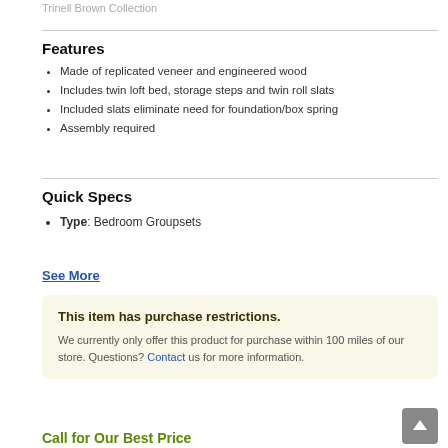Trinell Brown Collection
Features
Made of replicated veneer and engineered wood
Includes twin loft bed, storage steps and twin roll slats
Included slats eliminate need for foundation/box spring
Assembly required
Quick Specs
Type: Bedroom Groupsets
See More
This item has purchase restrictions. We currently only offer this product for purchase within 100 miles of our store. Questions? Contact us for more information.
Call for Our Best Price